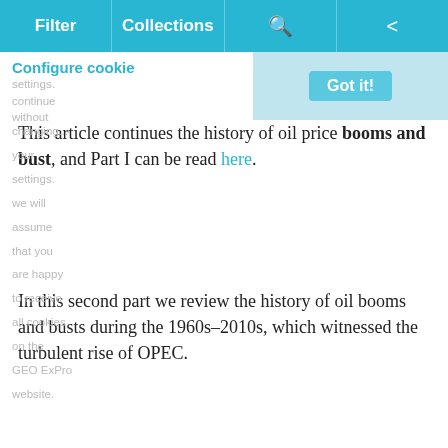Filter | Collections | [search icon] | [share icon]
Configure cookie settings. continue without changing your settings. we will assume that you are happy to receive all cookies on the GEO ExPro website.
Got it!
This article continues the history of oil price booms and bust, and Part I can be read here.
In this second part we review the history of oil booms and busts during the 1960s–2010s, which witnessed the turbulent rise of OPEC.
At the end of WWII in 1945, the USA held a prominent position in the world in terms of oil reserves and production, but over the following two decades power shifted to the Middle East. Between 1948 and 1972 (just before the First Oil Shock), the world's proven reserves grew from 62 Bbo to 534 Bbo, the Middle East accounting for 70% of this increase. During the same period, the western world's production grew from 8.7 to 42 MMbopd while that of the Middle East grew from 1.1 to 18.2